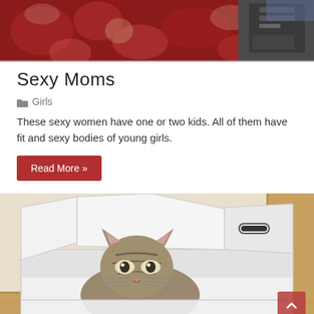[Figure (photo): Top portion of a photo showing a patterned red/maroon carpet or rug with a bag or equipment in the upper right corner]
Sexy Moms
Girls
These sexy women have one or two kids. All of them have fit and sexy bodies of young girls.
Read More »
[Figure (photo): A cat hiding inside a white cardboard box, peeking out from under the flaps. The cat appears to be a tabby cat.]